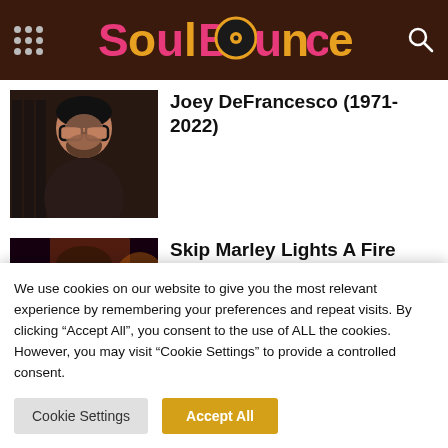[Figure (logo): SoulBounce website logo in pink and yellow lettering with a vinyl record graphic, on a dark brown header bar with a grid/menu icon on the left and a search icon on the right]
[Figure (photo): Photo of Joey DeFrancesco, a heavyset man with glasses, dark beard, wearing a dark jacket, with what appears to be a piano/organ in the background]
Joey DeFrancesco (1971-2022)
[Figure (photo): Photo of Skip Marley and/or Ayra Starr, dark atmospheric image with warm reddish-orange tones, person with braided hair visible]
Skip Marley Lights A Fire With Ayra Starr On 'Jane' & Charts North American Tour
We use cookies on our website to give you the most relevant experience by remembering your preferences and repeat visits. By clicking “Accept All”, you consent to the use of ALL the cookies. However, you may visit “Cookie Settings” to provide a controlled consent.